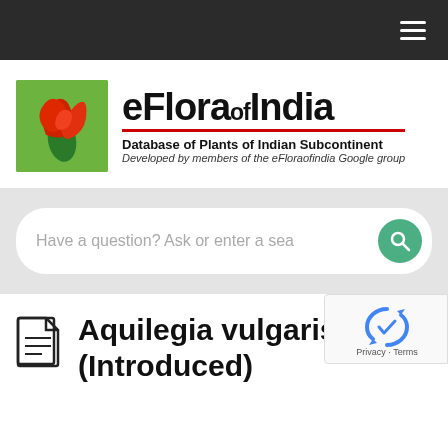eFloraofIndia - Navigation bar
[Figure (logo): eFlora of India logo with green background showing a red flower, title text 'eFloraofIndia', tagline 'Database of Plants of Indian Subcontinent', sub-tagline 'Developed by members of the eFloraofindia Google group']
Have a question? Ask or enter a search term
Aquilegia vulgaris (Introduced)